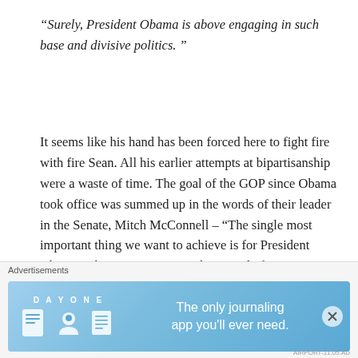“Surely, President Obama is above engaging in such base and divisive politics. ”
It seems like his hand has been forced here to fight fire with fire Sean. All his earlier attempts at bipartisanship were a waste of time. The goal of the GOP since Obama took office was summed up in the words of their leader in the Senate, Mitch McConnell – “The single most important thing we want to achieve is for President Obama to be a one-term president” And of course there’s John Boehner’s refusal to seek compromises to work with the president
Advertisements
[Figure (illustration): Day One journaling app advertisement banner with blue gradient background, icons of a book, person, and notepad, and text 'The only journaling app you'll ever need.']